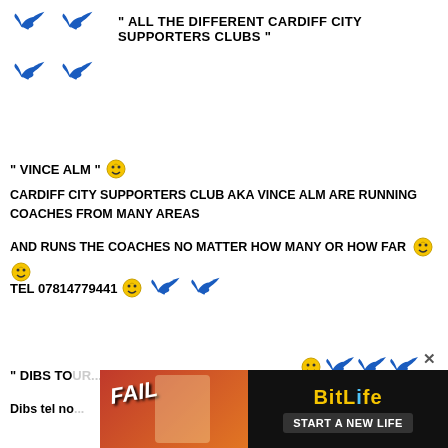[Figure (illustration): Four blue swallow/swift bird icons arranged in a 2x2 grid at top left]
" ALL THE DIFFERENT CARDIFF CITY SUPPORTERS CLUBS "
" VINCE ALM " [smiley emoji]
CARDIFF CITY SUPPORTERS CLUB AKA VINCE ALM ARE RUNNING COACHES FROM MANY AREAS
AND RUNS THE COACHES NO MATTER HOW MANY OR HOW FAR [smiley emojis]
TEL 07814779441 [smiley emoji] [two blue swallow icons]
" DIBS TO[UR...] "
Dibs tel no[...]
[Figure (screenshot): BitLife advertisement banner at bottom - FAIL game ad with START A NEW LIFE text]